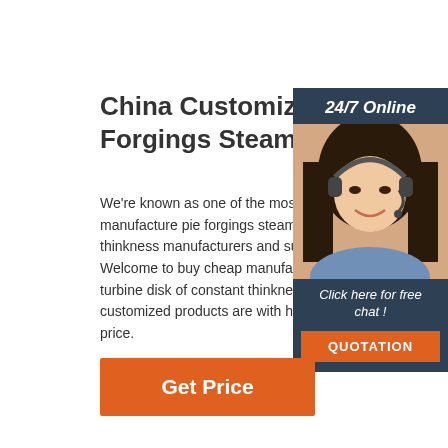China Customized Manufacture Forgings Steam
We're known as one of the most professional manufacture pie forgings steam turbine disk of constant thinkness manufacturers and suppliers in China. Welcome to buy cheap manufacture pie forgings steam turbine disk of constant thinkness from our factory. All customized products are with high quality and competitive price.
[Figure (illustration): Customer service representative with headset, sidebar widget with 24/7 Online header, Click here for free chat text, and QUOTATION button]
Get Price